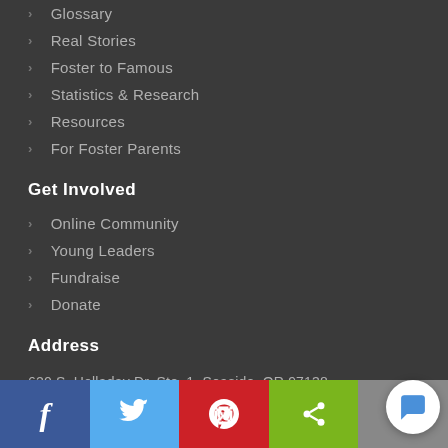Glossary
Real Stories
Foster to Famous
Statistics & Research
Resources
For Foster Parents
Get Involved
Online Community
Young Leaders
Fundraise
Donate
Address
620 S. Holladay Dr. Ste. 1, Seaside, OR 97138
503-717-1552
info@fosterclub.com